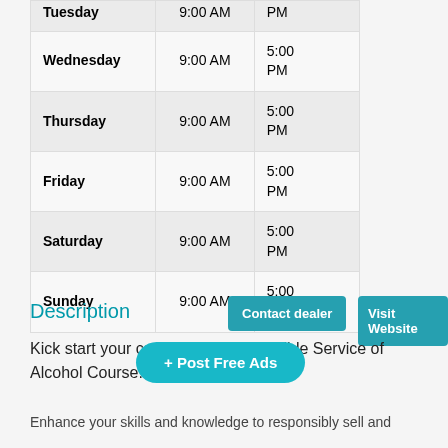| Day | Open | Close |
| --- | --- | --- |
| Tuesday | 9:00 AM | PM |
| Wednesday | 9:00 AM | 5:00 PM |
| Thursday | 9:00 AM | 5:00 PM |
| Friday | 9:00 AM | 5:00 PM |
| Saturday | 9:00 AM | 5:00 PM |
| Sunday | 9:00 AM | 5:00 PM |
Description
Kick start your car... nsible Service of Alcohol Course.
Enhance your skills and knowledge to responsibly sell and